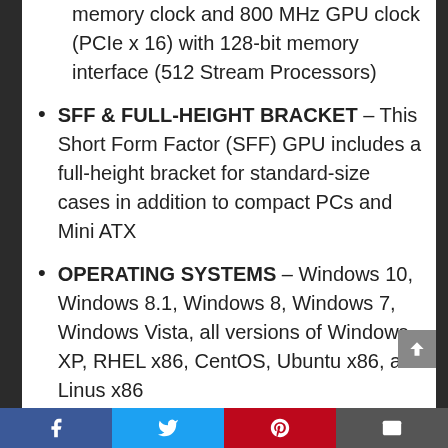memory clock and 800 MHz GPU clock (PCIe x 16) with 128-bit memory interface (512 Stream Processors)
SFF & FULL-HEIGHT BRACKET – This Short Form Factor (SFF) GPU includes a full-height bracket for standard-size cases in addition to compact PCs and Mini ATX
OPERATING SYSTEMS – Windows 10, Windows 8.1, Windows 8, Windows 7, Windows Vista, all versions of Windows XP, RHEL x86, CentOS, Ubuntu x86, and Linus x86